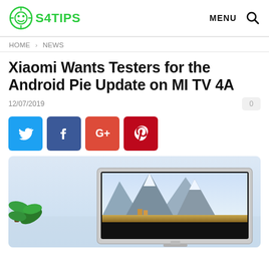S4TIPS | MENU 🔍
HOME > NEWS
Xiaomi Wants Testers for the Android Pie Update on MI TV 4A
12/07/2019
[Figure (illustration): Social share buttons: Twitter (blue), Facebook (dark blue), Google+ (red-orange), Pinterest (red)]
[Figure (photo): MI TV 4A television displaying a mountain landscape wallpaper, with a plant visible to the left, photographed against a light grey/white background]